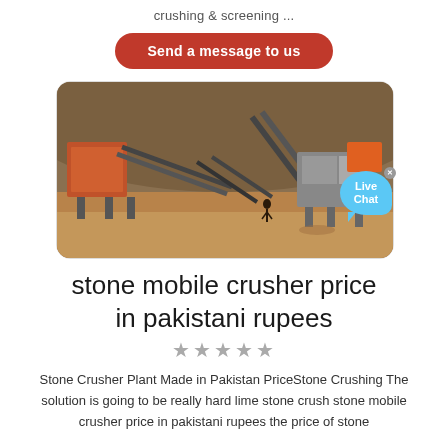crushing & screening ...
Send a message to us
[Figure (photo): Industrial stone crusher and screening plant in Pakistan, showing conveyor belts, machinery and rugged terrain background]
stone mobile crusher price in pakistani rupees
★★★★★
Stone Crusher Plant Made in Pakistan PriceStone Crushing The solution is going to be really hard lime stone crush stone mobile crusher price in pakistani rupees the price of stone